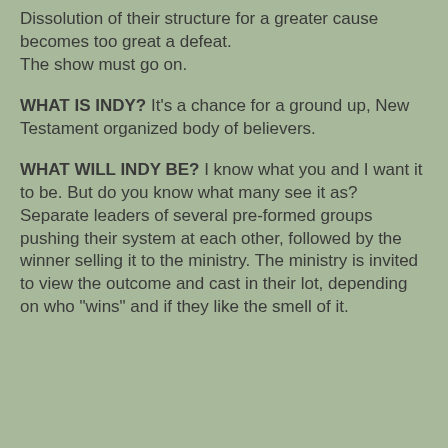Dissolution of their structure for a greater cause becomes too great a defeat.
The show must go on.
WHAT IS INDY? It's a chance for a ground up, New Testament organized body of believers.
WHAT WILL INDY BE? I know what you and I want it to be. But do you know what many see it as? Separate leaders of several pre-formed groups pushing their system at each other, followed by the winner selling it to the ministry. The ministry is invited to view the outcome and cast in their lot, depending on who "wins" and if they like the smell of it.